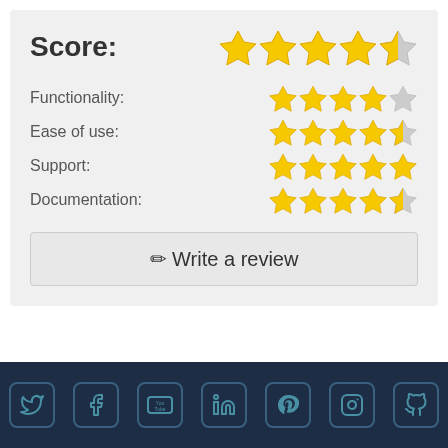Score:
[Figure (infographic): Star rating widget showing Score: 4.5 stars, Functionality: 4 stars, Ease of use: 4.5 stars, Support: 5 stars, Documentation: 4.5 stars, with a Write a review button and social media footer icons]
Functionality:
Ease of use:
Support:
Documentation:
✏ Write a review
Social media icons: Twitter, Facebook, YouTube, LinkedIn, Pinterest, Instagram, GitHub